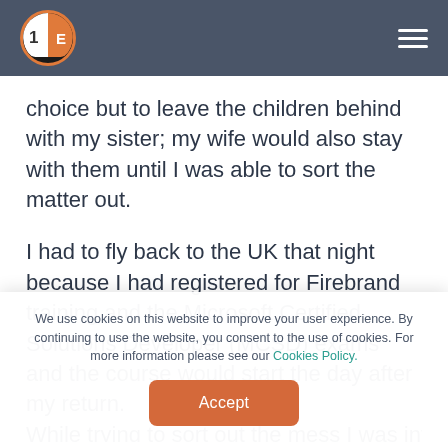1E logo and navigation menu
choice but to leave the children behind with my sister; my wife would also stay with them until I was able to sort the matter out.
I had to fly back to the UK that night because I had registered for Firebrand training and the Microsoft Certified Solutions Developer (MCSD) exams and the course would start the day after my return. While trying to sort out the mess I was informed
We use cookies on this website to improve your user experience. By continuing to use the website, you consent to the use of cookies. For more information please see our Cookies Policy.
Accept